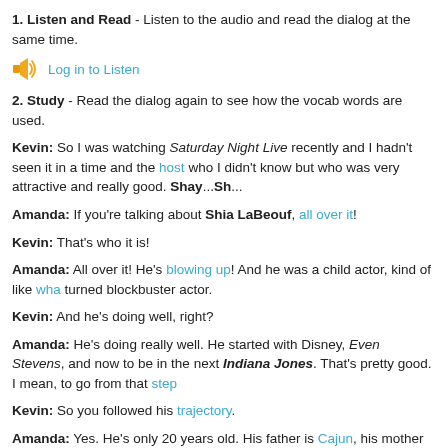1. Listen and Read - Listen to the audio and read the dialog at the same time.
[Figure (other): Audio speaker icon with Log in to Listen link]
2. Study - Read the dialog again to see how the vocab words are used.
Kevin: So I was watching Saturday Night Live recently and I hadn't seen it in a time and the host who I didn't know but who was very attractive and really good. Shay...Sh...
Amanda: If you're talking about Shia LaBeouf, all over it!
Kevin: That's who it is!
Amanda: All over it! He's blowing up! And he was a child actor, kind of like wha turned blockbuster actor.
Kevin: And he's doing well, right?
Amanda: He's doing really well. He started with Disney, Even Stevens, and now to be in the next Indiana Jones. That's pretty good. I mean, to go from that step
Kevin: So you followed his trajectory.
Amanda: Yes. He's only 20 years old. His father is Cajun, his mother is Jewish story. His father left his family and it was just he and his mother all the way throu his acting and he's huge right now.
Kevin: Cool.